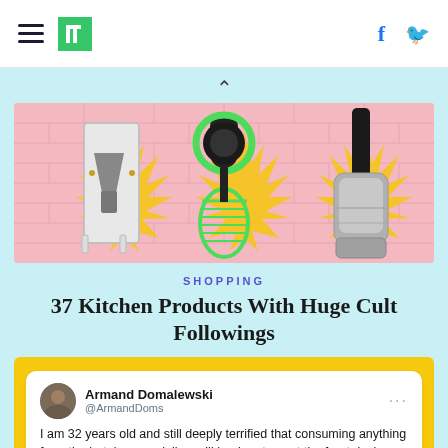HuffPost navigation header with hamburger menu, logo, Facebook and Twitter icons
[Figure (illustration): Hero image showing kitchen gadgets: a mandoline slicer, avocado slicer tool, and a Dyson-style tool against a pink brick wall with yellow starburst decorations]
SHOPPING
37 Kitchen Products With Huge Cult Followings
Armand Domalewski @ArmandDoms — I am 32 years old and still deeply terrified that consuming anything from the hotel room minibar will bankrupt me at the front desk on checkout